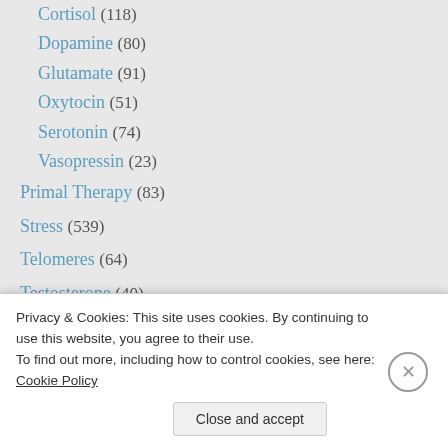Cortisol (118)
Dopamine (80)
Glutamate (91)
Oxytocin (51)
Serotonin (74)
Vasopressin (23)
Primal Therapy (83)
Stress (539)
Telomeres (64)
Testosterone (40)
TOP POSTS
Don't bother eating broccoli sprouts if ...
Privacy & Cookies: This site uses cookies. By continuing to use this website, you agree to their use.
To find out more, including how to control cookies, see here: Cookie Policy
Close and accept